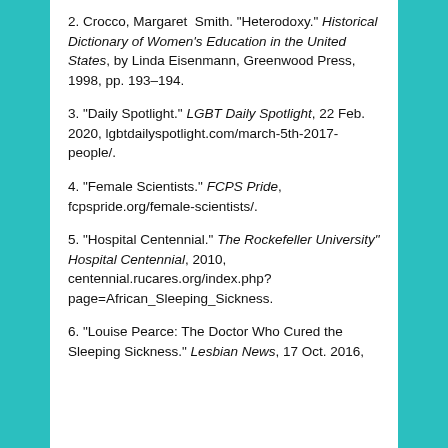2. Crocco, Margaret Smith. "Heterodoxy." Historical Dictionary of Women's Education in the United States, by Linda Eisenmann, Greenwood Press, 1998, pp. 193–194.
3. "Daily Spotlight." LGBT Daily Spotlight, 22 Feb. 2020, lgbtdailyspotlight.com/march-5th-2017-people/.
4. "Female Scientists." FCPS Pride, fcpspride.org/female-scientists/.
5. "Hospital Centennial." The Rockefeller University" Hospital Centennial, 2010, centennial.rucares.org/index.php?page=African_Sleeping_Sickness.
6. "Louise Pearce: The Doctor Who Cured the Sleeping Sickness." Lesbian News, 17 Oct. 2016,